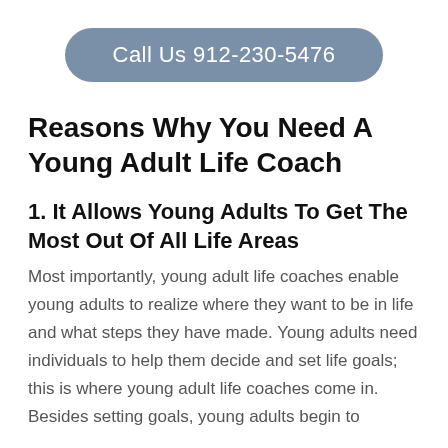Call Us 912-230-5476
Reasons Why You Need A Young Adult Life Coach
1. It Allows Young Adults To Get The Most Out Of All Life Areas
Most importantly, young adult life coaches enable young adults to realize where they want to be in life and what steps they have made. Young adults need individuals to help them decide and set life goals; this is where young adult life coaches come in. Besides setting goals, young adults begin to